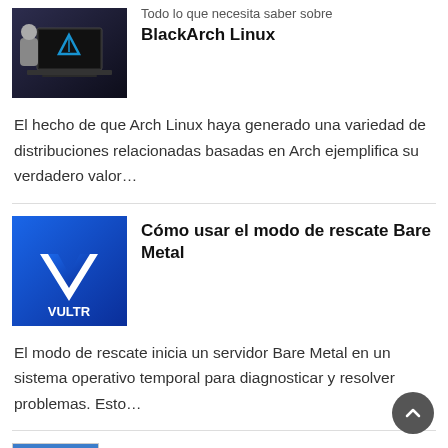[Figure (photo): Laptop computer with Arch Linux logo on screen, person typing, dark background]
Todo lo que necesita saber sobre BlackArch Linux
El hecho de que Arch Linux haya generado una variedad de distribuciones relacionadas basadas en Arch ejemplifica su verdadero valor…
[Figure (logo): Vultr logo on blue gradient background with chevron/arrow icon]
Cómo usar el modo de rescate Bare Metal
El modo de rescate inicia un servidor Bare Metal en un sistema operativo temporal para diagnosticar y resolver problemas. Esto…
[Figure (screenshot): Instalar Thunderbird en Linux Mint thumbnail image]
Cómo instalar Thunderbird en Linux Mint 21